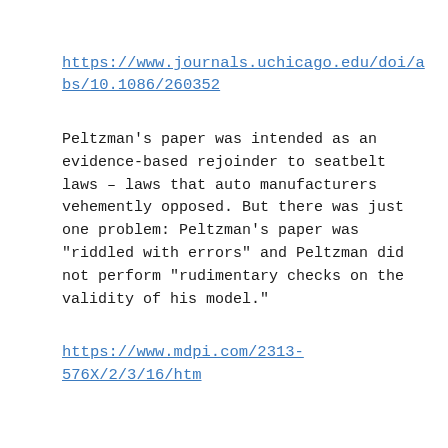https://www.journals.uchicago.edu/doi/abs/10.1086/260352
Peltzman's paper was intended as an evidence-based rejoinder to seatbelt laws – laws that auto manufacturers vehemently opposed. But there was just one problem: Peltzman's paper was "riddled with errors" and Peltzman did not perform "rudimentary checks on the validity of his model."
https://www.mdpi.com/2313-576X/2/3/16/htm